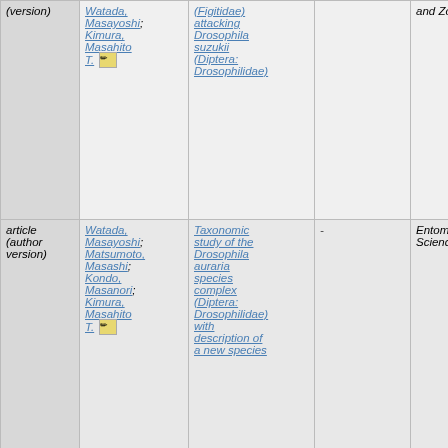| Type | Authors | Title | Alt Title | Journal | Extra |
| --- | --- | --- | --- | --- | --- |
| article (author version) | Watada, Masayoshi; Kimura, Masahito T. [edit] | (Figitidae) attacking Drosophila suzukii (Diptera: Drosophilidae) |  | and Zoology |  |
| article (author version) | Watada, Masayoshi; Matsumoto, Masashi; Kondo, Masanori; Kimura, Masahito T. [edit] | Taxonomic study of the Drosophila auraria species complex (Diptera: Drosophilidae) with description of a new species | - | Entomological Science | - |
| bulletin (article) | [Japanese authors] | [Japanese title] | Temporal changes of the drosophilid fauna in the Ogasawara Islands, with a report on a new colonizing | [Japanese] | Low Temperature Science |